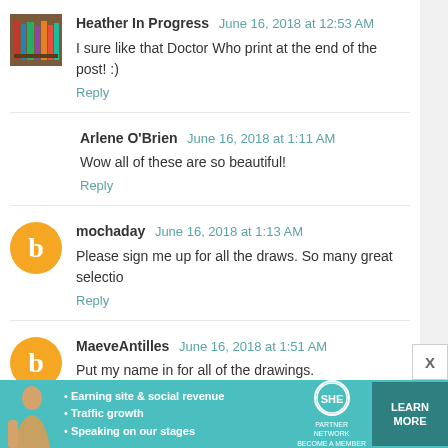Heather In Progress  June 16, 2018 at 12:53 AM
I sure like that Doctor Who print at the end of the post! :)
Reply
Arlene O'Brien  June 16, 2018 at 1:11 AM
Wow all of these are so beautiful!
Reply
mochaday  June 16, 2018 at 1:13 AM
Please sign me up for all the draws. So many great selectio...
Reply
MaeveAntilles  June 16, 2018 at 1:51 AM
Put my name in for all of the drawings.
Reply
[Figure (infographic): SHE Partner Network advertisement banner with woman photo, bullet points about earning site & social revenue, traffic growth, speaking on our stages, SHE logo, LEARN MORE button]